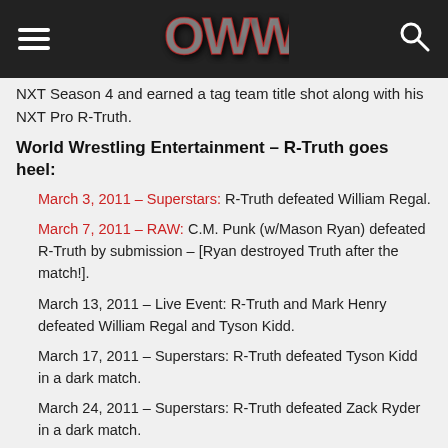OWW (Online World of Wrestling) navigation header with hamburger menu, OWW logo, and search icon
NXT Season 4 and earned a tag team title shot along with his NXT Pro R-Truth.
World Wrestling Entertainment – R-Truth goes heel:
March 3, 2011 – Superstars: R-Truth defeated William Regal.
March 7, 2011 – RAW: C.M. Punk (w/Mason Ryan) defeated R-Truth by submission – [Ryan destroyed Truth after the match!].
March 13, 2011 – Live Event: R-Truth and Mark Henry defeated William Regal and Tyson Kidd.
March 17, 2011 – Superstars: R-Truth defeated Tyson Kidd in a dark match.
March 24, 2011 – Superstars: R-Truth defeated Zack Ryder in a dark match.